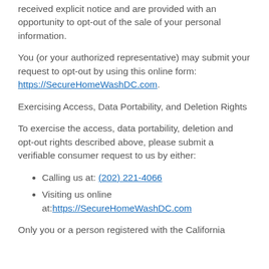received explicit notice and are provided with an opportunity to opt-out of the sale of your personal information.
You (or your authorized representative) may submit your request to opt-out by using this online form: https://SecureHomeWashDC.com.
Exercising Access, Data Portability, and Deletion Rights
To exercise the access, data portability, deletion and opt-out rights described above, please submit a verifiable consumer request to us by either:
Calling us at: (202) 221-4066
Visiting us online at: https://SecureHomeWashDC.com
Only you or a person registered with the California